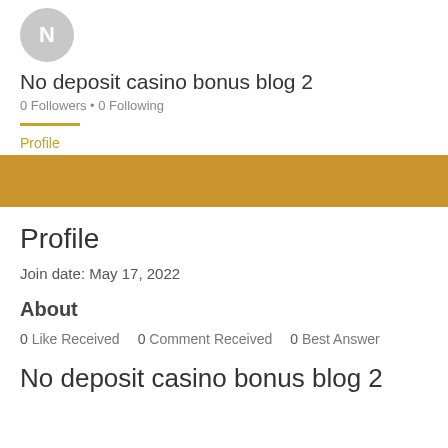[Figure (illustration): Circular avatar with letter N on gray background]
No deposit casino bonus blog 2
0 Followers • 0 Following
Profile
[Figure (other): Tan/brown horizontal banner bar]
Profile
Join date: May 17, 2022
About
0 Like Received   0 Comment Received   0 Best Answer
No deposit casino bonus blog 2